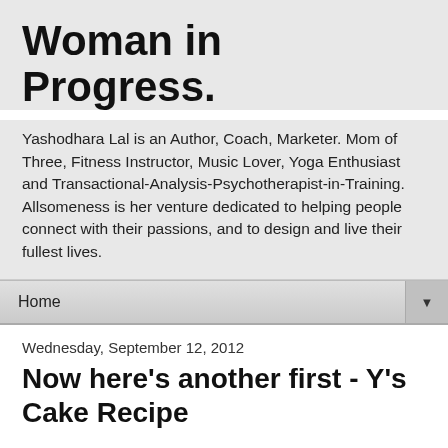Woman in Progress.
Yashodhara Lal is an Author, Coach, Marketer. Mom of Three, Fitness Instructor, Music Lover, Yoga Enthusiast and Transactional-Analysis-Psychotherapist-in-Training. Allsomeness is her venture dedicated to helping people connect with their passions, and to design and live their fullest lives.
Home
Wednesday, September 12, 2012
Now here's another first - Y's Cake Recipe
Over the course of six years of blogging, I have posted only two recipes, to the best of my memory - Banoffee and Bread Pakoda - and they weren't really 'my' recipes - both these earlier posts were a month apart in 2007 - wonder what I